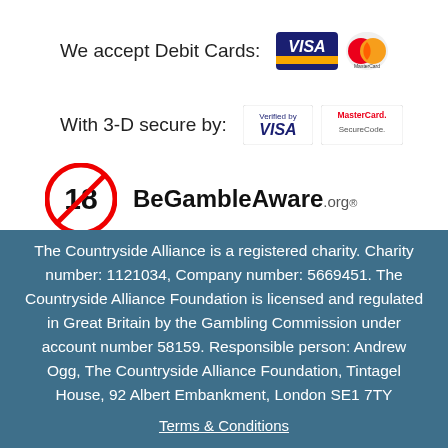We accept Debit Cards:
[Figure (logo): Visa and MasterCard debit card logos]
With 3-D secure by:
[Figure (logo): Verified by Visa and MasterCard SecureCode logos]
[Figure (logo): 18+ no under 18s symbol and BeGambleAware.org logo]
The Countryside Alliance is a registered charity. Charity number: 1121034, Company number: 5669451. The Countryside Alliance Foundation is licensed and regulated in Great Britain by the Gambling Commission under account number 58159. Responsible person: Andrew Ogg, The Countryside Alliance Foundation, Tintagel House, 92 Albert Embankment, London SE1 7TY
Terms & Conditions